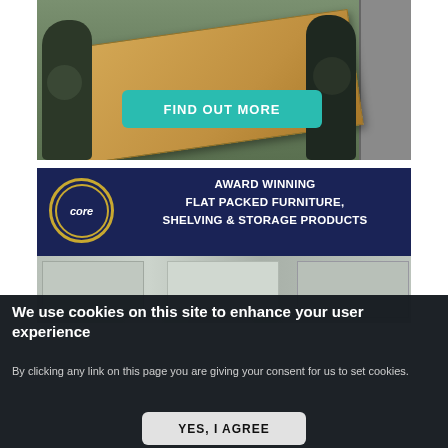[Figure (photo): Two workers unloading large flat-packed cardboard boxes from a delivery truck, with a teal 'FIND OUT MORE' button overlaid on the image]
[Figure (photo): Advertisement banner for 'Core' featuring dark navy background with gold circle logo on left and white text reading 'AWARD WINNING FLAT PACKED FURNITURE, SHELVING & STORAGE PRODUCTS', below is a partial photo of shelving/furniture products]
We use cookies on this site to enhance your user experience
By clicking any link on this page you are giving your consent for us to set cookies.
YES, I AGREE